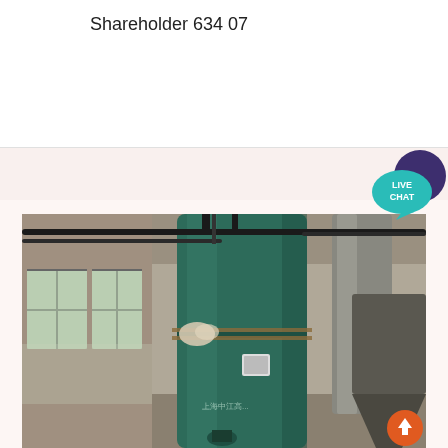Shareholder 634 07
[Figure (illustration): Live chat bubble icon with speech bubble in teal/cyan and a dark purple circle, text reading LIVE CHAT]
[Figure (photo): Industrial photograph of a large green cylindrical pressure vessel or boiler tank in a factory/industrial setting. The tank has Chinese text on it. There are pipes, windows with natural light, and industrial equipment including a hopper/cyclone visible on the right side. A scroll-to-top orange button is visible in the bottom right corner.]